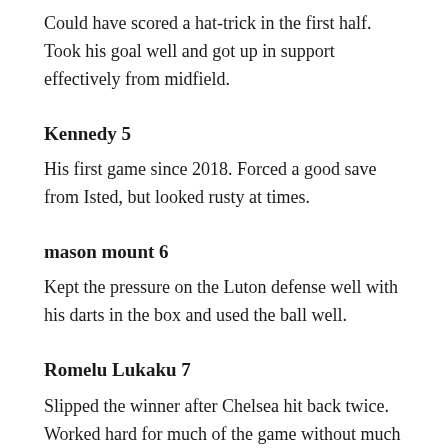Could have scored a hat-trick in the first half. Took his goal well and got up in support effectively from midfield.
Kennedy 5
His first game since 2018. Forced a good save from Isted, but looked rusty at times.
mason mount 6
Kept the pressure on the Luton defense well with his darts in the box and used the ball well.
Romelu Lukaku 7
Slipped the winner after Chelsea hit back twice. Worked hard for much of the game without much service before earning his